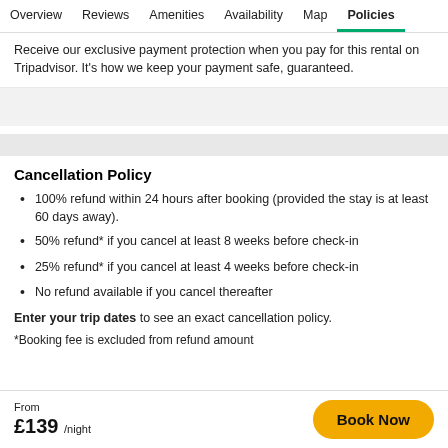Overview | Reviews | Amenities | Availability | Map | Policies
Receive our exclusive payment protection when you pay for this rental on Tripadvisor. It's how we keep your payment safe, guaranteed.
Cancellation Policy
100% refund within 24 hours after booking (provided the stay is at least 60 days away).
50% refund* if you cancel at least 8 weeks before check-in
25% refund* if you cancel at least 4 weeks before check-in
No refund available if you cancel thereafter
Enter your trip dates to see an exact cancellation policy.
*Booking fee is excluded from refund amount
From £139 /night  Book Now